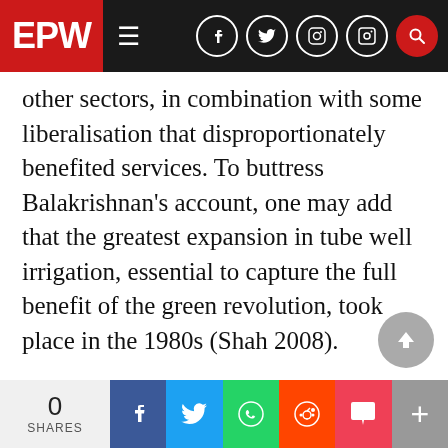EPW
other sectors, in combination with some liberalisation that disproportionately benefited services. To buttress Balakrishnan’s account, one may add that the greatest expansion in tube well irrigation, essential to capture the full benefit of the green revolution, took place in the 1980s (Shah 2008).
The last chapter deals with the post1991 phase, and is followed by an epilogue on inclusive growth. The author points to two areas that need remedial attention if the average growth rate of aggregate GDP of 8% or so over the last seven years is to
0 SHARES